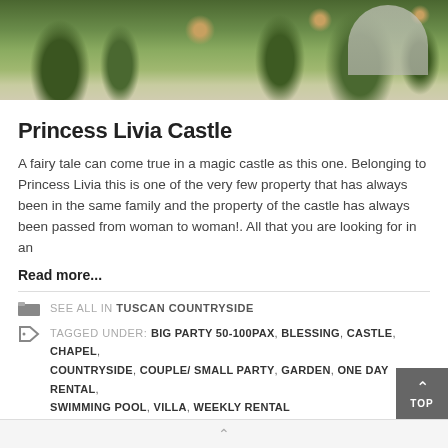[Figure (photo): Aerial/elevated view of a castle garden with trimmed hedges, potted trees, stone balustrades, and a round stone building in the background under a blue sky.]
Princess Livia Castle
A fairy tale can come true in a magic castle as this one. Belonging to Princess Livia this is one of the very few property that has always been in the same family and the property of the castle has always been passed from woman to woman!. All that you are looking for in an
Read more...
SEE ALL IN TUSCAN COUNTRYSIDE
TAGGED UNDER: BIG PARTY 50-100PAX, BLESSING, CASTLE, CHAPEL, COUNTRYSIDE, COUPLE/ SMALL PARTY, GARDEN, ONE DAY RENTAL, SWIMMING POOL, VILLA, WEEKLY RENTAL